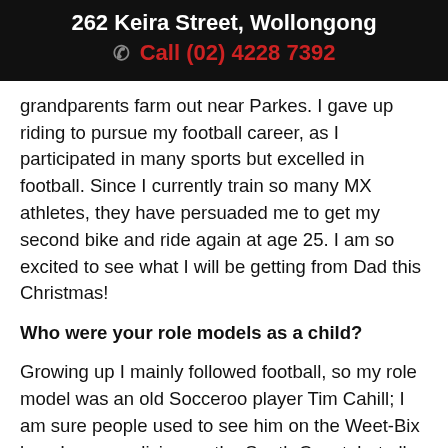262 Keira Street, Wollongong
Call (02) 4228 7392
grandparents farm out near Parkes. I gave up riding to pursue my football career, as I participated in many sports but excelled in football. Since I currently train so many MX athletes, they have persuaded me to get my second bike and ride again at age 25. I am so excited to see what I will be getting from Dad this Christmas!
Who were your role models as a child?
Growing up I mainly followed football, so my role model was an old Socceroo player Tim Cahill; I am sure people used to see him on the Weet-Bix box. I grew up living on the South Coast, but all holidays were in the country at my grandparent's farm. We